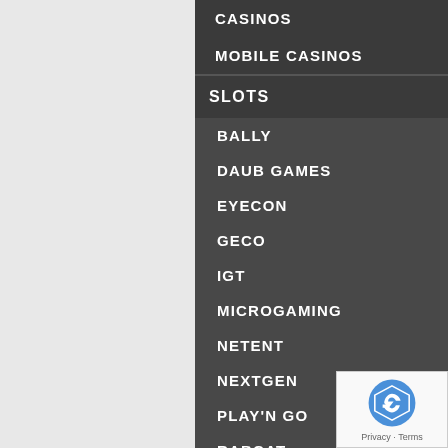CASINOS
MOBILE CASINOS
SLOTS
BALLY
DAUB GAMES
EYECON
GECO
IGT
MICROGAMING
NETENT
NEXTGEN
PLAY'N GO
RABCAT
REALISTIC GAMES
REALTIME GAMING
SCIENTIFIC GAMES
SHERIFF GAMING
WMS GAMING